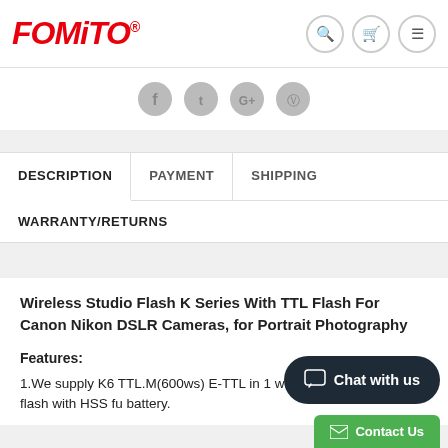FOMITO
[Figure (other): Social media share icons: Facebook, Twitter, Google+, Pinterest]
DESCRIPTION | PAYMENT | SHIPPING
WARRANTY/RETURNS
Wireless Studio Flash K Series With TTL Flash For Canon Nikon DSLR Cameras, for Portrait Photography
Features:
1.We supply K6 TTL.M(600ws) E-TTL... in 1 wireless studio flash with HSS fun... battery.